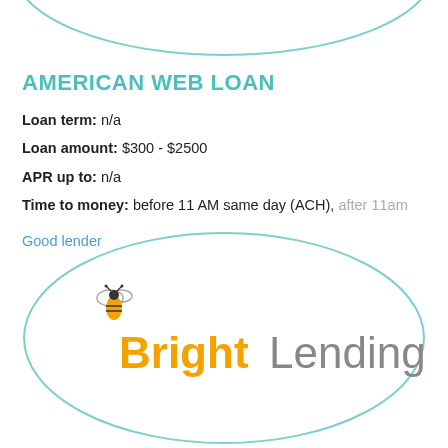[Figure (illustration): Partial teal/blue oval outline at top of page, cropped]
AMERICAN WEB LOAN
Loan term: n/a
Loan amount: $300 - $2500
APR up to: n/a
Time to money: before 11 AM same day (ACH), after 11am
Good lender
[Figure (illustration): Large teal/blue oval outline containing the BrightLending logo with a bee icon, orange 'Bright' text and gray 'Lending' text]